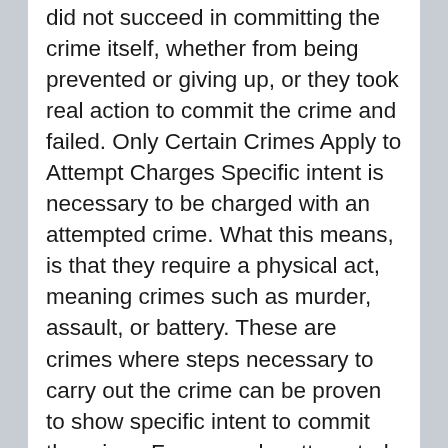did not succeed in committing the crime itself, whether from being prevented or giving up, or they took real action to commit the crime and failed. Only Certain Crimes Apply to Attempt Charges Specific intent is necessary to be charged with an attempted crime. What this means, is that they require a physical act, meaning crimes such as murder, assault, or battery. These are crimes where steps necessary to carry out the crime can be proven to show specific intent to commit the crime. For example, attempted murder may be proven through the purchase of a weapon. How Attempt Charges are Handled in Court The most common defense for a criminal lawyer to take against attempt charges is to show no concrete actions were taken. Proving no real action was taken to commit the crime, such as buying a weapon, can be effective.